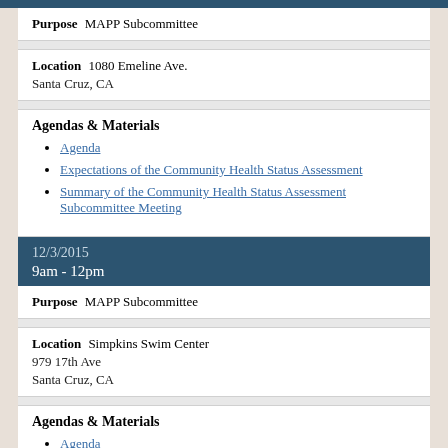Purpose   MAPP Subcommittee
Location   1080 Emeline Ave.
Santa Cruz, CA
Agendas & Materials
Agenda
Expectations of the Community Health Status Assessment
Summary of the Community Health Status Assessment Subcommittee Meeting
12/3/2015
9am - 12pm
Purpose   MAPP Subcommittee
Location   Simpkins Swim Center
979 17th Ave
Santa Cruz, CA
Agendas & Materials
Agenda